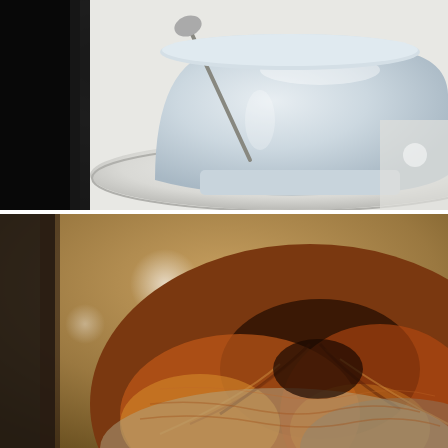[Figure (photo): Close-up photo of a white ceramic coffee cup and saucer against a black background. The cup is light blue-white, resting on a white plate/saucer, with a spoon visible behind it.]
[Figure (photo): Photo taken from above showing the top of a person's head with auburn/reddish-brown hair with lighter highlights, viewed from directly above against a warm brown/tan blurred background with a bright light reflection visible.]